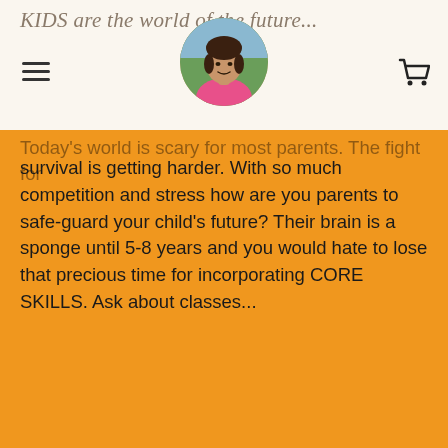KIDS are the world of the future...
[Figure (photo): Profile photo of a woman in a pink top, circular crop, centered in navigation bar]
Today's world is scary for most parents. The fight for survival is getting harder. With so much competition and stress how are you parents to safe-guard your child's future? Their brain is a sponge until 5-8 years and you would hate to lose that precious time for incorporating CORE SKILLS. Ask about classes...
SERVICES for KIDS
My Blog